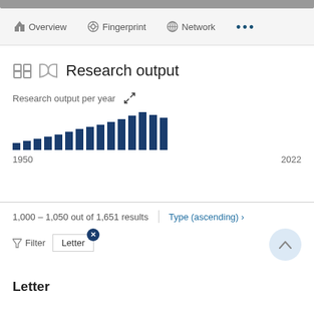Overview  Fingerprint  Network  ...
Research output
[Figure (bar-chart): Research output per year]
1,000 – 1,050 out of 1,651 results
Type (ascending) ›
Filter  Letter
Letter